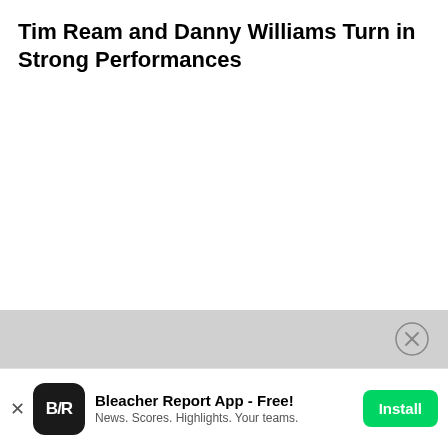Tim Ream and Danny Williams Turn in Strong Performances
[Figure (other): Gray banner with circular X close button for advertisement]
Bleacher Report App - Free! News. Scores. Highlights. Your teams. Install